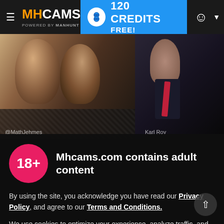MH CAMS powered by MANHUNT | 120 CREDITS FREE!
[Figure (screenshot): Two background images: left shows two young men facing each other, right shows a young man in a suit with a red tie. Both images are partially obscured by a dark overlay. Labels '@MathJehmes' and 'Karl Roy' appear below the images.]
Mhcams.com contains adult content
By using the site, you acknowledge you have read our Privacy Policy, and agree to our Terms and Conditions.
We use cookies to optimize your experience, analyze traffic, and deliver more personalized service. To learn more, please see our Privacy Policy.
I AGREE